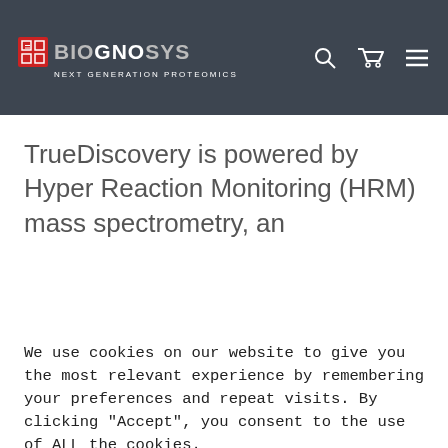The Biognosys TrueDiscovery platform offers proteomics solutions across the entire drug development pipeline.
[Figure (logo): Biognosys logo with red grid icon and text 'BIOGNOSYS NEXT GENERATION PROTEOMICS' on dark grey navigation bar with search, cart, and menu icons]
TrueDiscovery is powered by Hyper Reaction Monitoring (HRM) mass spectrometry, an
[Figure (screenshot): Blue gradient banner with X close button and text 'SpectroDive TM 11' partially visible]
We use cookies on our website to give you the most relevant experience by remembering your preferences and repeat visits. By clicking "Accept", you consent to the use of ALL the cookies.
Cookie settings   ACCEPT